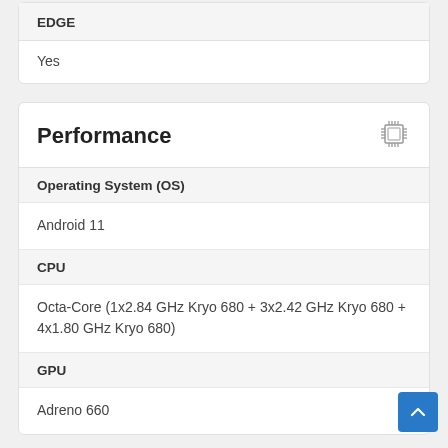| EDGE |
| --- |
| Yes |
Performance
| Operating System (OS) | CPU | GPU |
| --- | --- | --- |
| Android 11 |
| Octa-Core (1x2.84 GHz Kryo 680 + 3x2.42 GHz Kryo 680 + 4x1.80 GHz Kryo 680) |
| Adreno 660 |